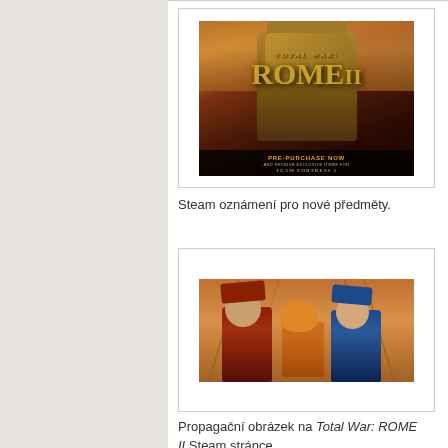[Figure (photo): Total War: ROME II Steam pre-purchase promotional image showing a Roman soldier in armor with the game logo and 'Pre-Purchase Now' text]
Steam oznámení pro nové předměty.
[Figure (photo): Promotional artwork for Total War: ROME II Steam page showing stylized cartoon-like characters fighting in an arena]
Propagační obrázek na Total War: ROME II Steam stránce.